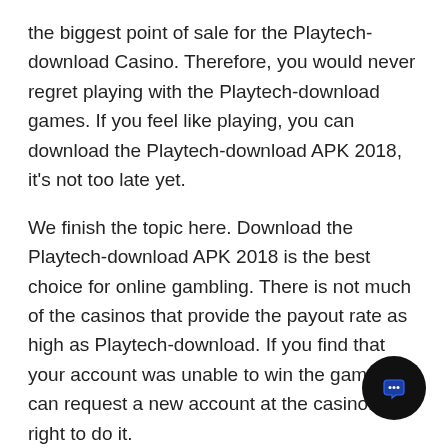the biggest point of sale for the Playtech-download Casino. Therefore, you would never regret playing with the Playtech-download games. If you feel like playing, you can download the Playtech-download APK 2018, it's not too late yet.
We finish the topic here. Download the Playtech-download APK 2018 is the best choice for online gambling. There is not much of the casinos that provide the payout rate as high as Playtech-download. If you find that your account was unable to win the game, you can request a new account at the casino. It is right to do it.
Additional actions after downloading the Playtech-download App?
Yes, after downloading the Playtech-download APK 2018
[Figure (other): Black circular chat/support bubble icon with a blue speech bubble symbol inside]